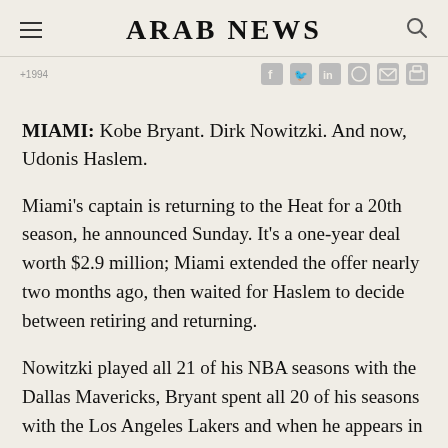ARAB NEWS
1994 (share icons)
MIAMI: Kobe Bryant. Dirk Nowitzki. And now, Udonis Haslem.
Miami's captain is returning to the Heat for a 20th season, he announced Sunday. It's a one-year deal worth $2.9 million; Miami extended the offer nearly two months ago, then waited for Haslem to decide between retiring and returning.
Nowitzki played all 21 of his NBA seasons with the Dallas Mavericks, Bryant spent all 20 of his seasons with the Los Angeles Lakers and when he appears in his next game, Haslem will join them